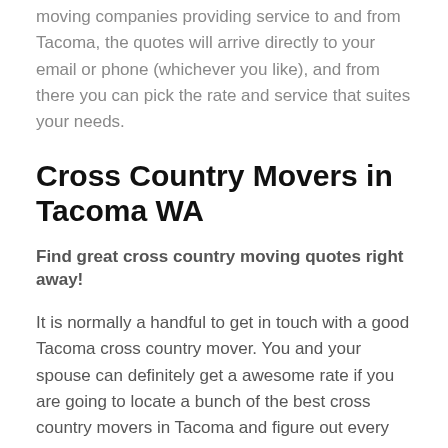moving companies providing service to and from Tacoma, the quotes will arrive directly to your email or phone (whichever you like), and from there you can pick the rate and service that suites your needs.
Cross Country Movers in Tacoma WA
Find great cross country moving quotes right away!
It is normally a handful to get in touch with a good Tacoma cross country mover. You and your spouse can definitely get a awesome rate if you are going to locate a bunch of the best cross country movers in Tacoma and figure out every option available. You may need to easily find a great cross country mover to handle all of your cross country moving situations. The best solution is to follow the insane